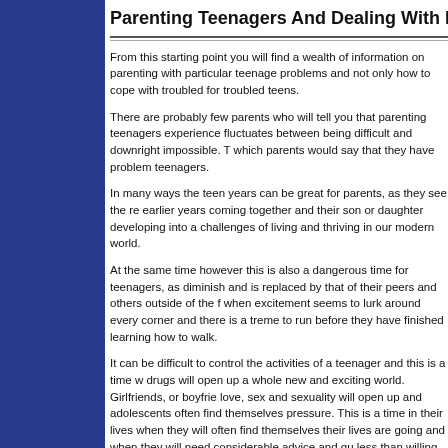Parenting Teenagers And Dealing With Problem Te…
From this starting point you will find a wealth of information on parenting with particular teenage problems and not only how to cope with troubled for troubled teens.
There are probably few parents who will tell you that parenting teenagers experience fluctuates between being difficult and downright impossible. T which parents would say that they have problem teenagers.
In many ways the teen years can be great for parents, as they see the re earlier years coming together and their son or daughter developing into a challenges of living and thriving in our modern world.
At the same time however this is also a dangerous time for teenagers, as diminish and is replaced by that of their peers and others outside of the f when excitement seems to lurk around every corner and there is a treme to run before they have finished learning how to walk.
It can be difficult to control the activities of a teenager and this is a time w drugs will open up a whole new and exciting world. Girlfriends, or boyfrie love, sex and sexuality will open up and adolescents often find themselves pressure. This is a time in their lives when they will often find themselves their lives are going and when they will need considerable advice and gu less than willing to accept your help.
Perhaps most important of all this is a time when children, often anxious flex their muscles and this often leads them into conflict with their parents to deal with as, while itâå¬™s often good to see your teenage children w the problem is that theyâå¬™re often not yet equipped with the knowle…